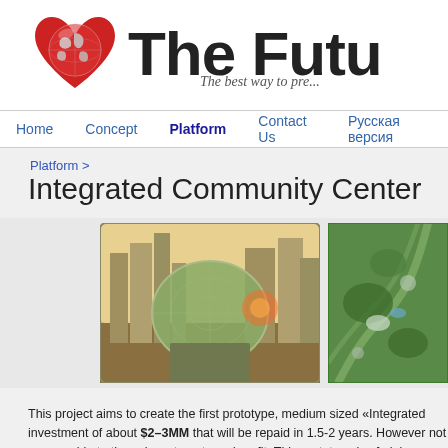[Figure (logo): Red heart-shaped globe logo]
The Futu
The best way to pre...
Home   Concept   Platform   Contact Us   Русская версия
Platform >
Integrated Community Center
[Figure (photo): Futuristic city with large dome structure among skyscrapers]
[Figure (photo): Aerial view of green garden/park architecture]
This project aims to create the first prototype, medium sized «Integrated investment of about $2–3MM that will be repaid in 1.5-2 years. However not comparable to those investments and profit. This prototype is of glob